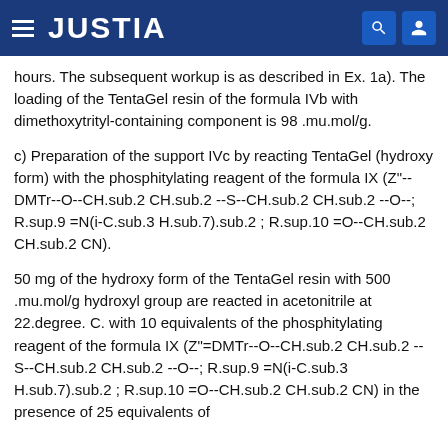JUSTIA
hours. The subsequent workup is as described in Ex. 1a). The loading of the TentaGel resin of the formula IVb with dimethoxytrityl-containing component is 98 .mu.mol/g.
c) Preparation of the support IVc by reacting TentaGel (hydroxy form) with the phosphitylating reagent of the formula IX (Z"--DMTr--O--CH.sub.2 CH.sub.2 --S--CH.sub.2 CH.sub.2 --O--; R.sup.9 =N(i-C.sub.3 H.sub.7).sub.2 ; R.sup.10 =O--CH.sub.2 CH.sub.2 CN).
50 mg of the hydroxy form of the TentaGel resin with 500 .mu.mol/g hydroxyl group are reacted in acetonitrile at 22.degree. C. with 10 equivalents of the phosphitylating reagent of the formula IX (Z"=DMTr--O--CH.sub.2 CH.sub.2 --S--CH.sub.2 CH.sub.2 --O--; R.sup.9 =N(i-C.sub.3 H.sub.7).sub.2 ; R.sup.10 =O--CH.sub.2 CH.sub.2 CN) in the presence of 25 equivalents of